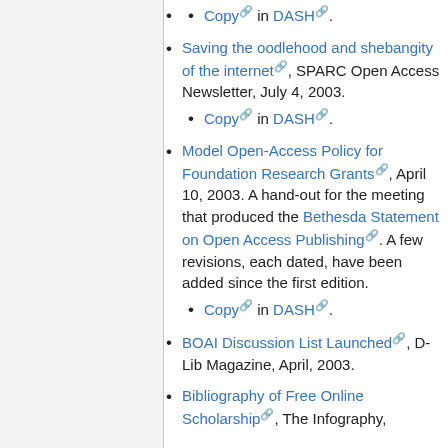Copy in DASH.
Saving the oodlehood and shebangity of the internet, SPARC Open Access Newsletter, July 4, 2003.
Copy in DASH.
Model Open-Access Policy for Foundation Research Grants, April 10, 2003. A hand-out for the meeting that produced the Bethesda Statement on Open Access Publishing. A few revisions, each dated, have been added since the first edition.
Copy in DASH.
BOAI Discussion List Launched, D-Lib Magazine, April, 2003.
Bibliography of Free Online Scholarship, The Infography,